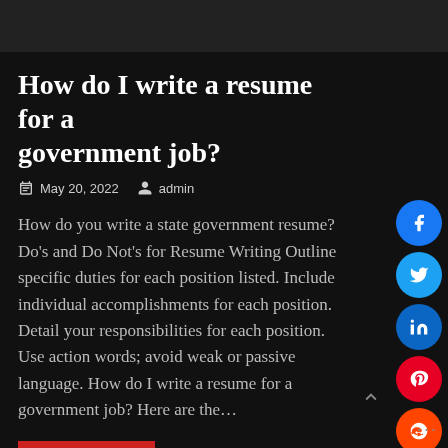How do I write a resume for a government job?
May 20, 2022   admin
How do you write a state government resume? Do's and Do Not's for Resume Writing Outline specific duties for each position listed. Include individual accomplishments for each position. Detail your responsibilities for each position. Use action words; avoid weak or passive language. How do I write a resume for a government job? Here are the…
Read More »